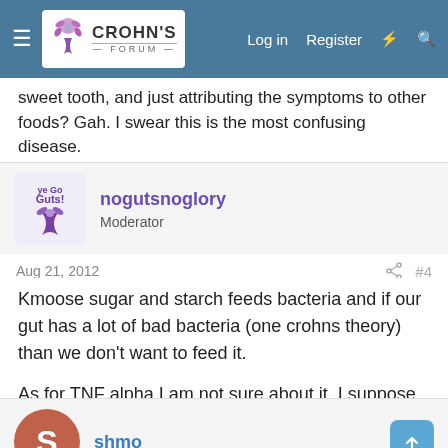Crohn's Forum — Log in | Register
sweet tooth, and just attributing the symptoms to other foods? Gah. I swear this is the most confusing disease.
nogutsnoglory
Moderator
Aug 21, 2012  #4
Kmoose sugar and starch feeds bacteria and if our gut has a lot of bad bacteria (one crohns theory) than we don't want to feed it.

As for TNF alpha I am not sure about it. I suppose it's good in healthy people but for us contributes to inflammation.
shmo